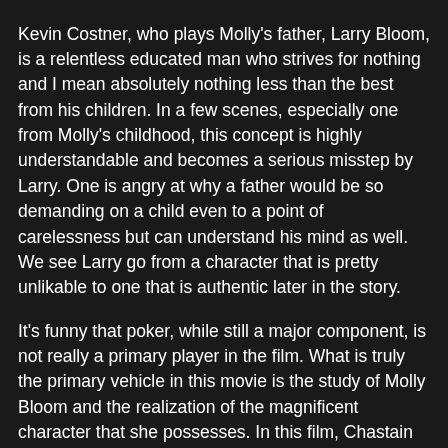Kevin Costner, who plays Molly's father, Larry Bloom, is a relentless educated man who strives for nothing and I mean absolutely nothing less than the best from his children. In a few scenes, especially one from Molly's childhood, this concept is highly understandable and becomes a serious misstep by Larry. One is angry at why a father would be so demanding on a child even to a point of carelessness but can understand his mind as well. We see Larry go from a character that is pretty unlikable to one that is authentic later in the story.
It's funny that poker, while still a major component, is not really a primary player in the film. What is truly the primary vehicle in this movie is the study of Molly Bloom and the realization of the magnificent character that she possesses. In this film, Chastain exudes Molly's integrity, intellect, wit, and possibly overlooked great moral compass that is a marvel to watch on screen.
(Review by Wyatt Head)